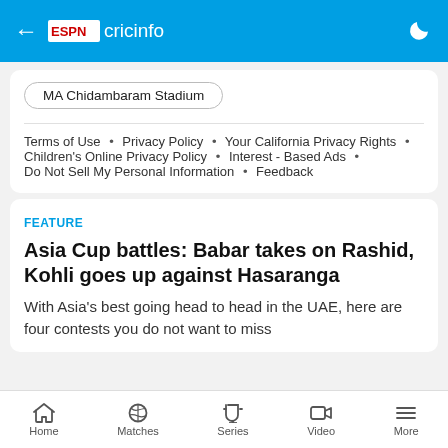ESPN cricinfo
MA Chidambaram Stadium
Terms of Use • Privacy Policy • Your California Privacy Rights • Children's Online Privacy Policy • Interest - Based Ads • Do Not Sell My Personal Information • Feedback
FEATURE
Asia Cup battles: Babar takes on Rashid, Kohli goes up against Hasaranga
With Asia's best going head to head in the UAE, here are four contests you do not want to miss
Home   Matches   Series   Video   More